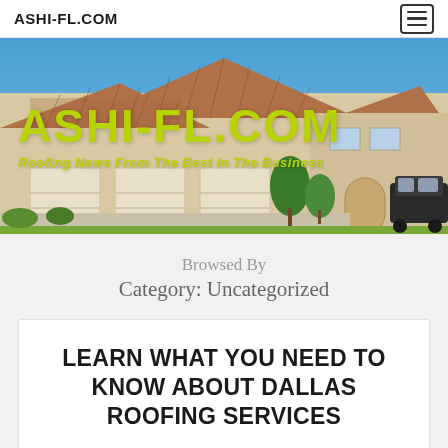ASHI-FL.COM
[Figure (photo): Hero image of a Florida residential home with tile roof, three-car garage, blue sky background. Overlaid with large text 'ASHI-FL.COM' in yellow-green and subtitle 'Roofing News From The Best In The Business']
Browsed By Category: Uncategorized
LEARN WHAT YOU NEED TO KNOW ABOUT DALLAS ROOFING SERVICES